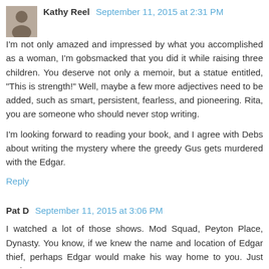Kathy Reel  September 11, 2015 at 2:31 PM
I'm not only amazed and impressed by what you accomplished as a woman, I'm gobsmacked that you did it while raising three children. You deserve not only a memoir, but a statue entitled, "This is strength!" Well, maybe a few more adjectives need to be added, such as smart, persistent, fearless, and pioneering. Rita, you are someone who should never stop writing.
I'm looking forward to reading your book, and I agree with Debs about writing the mystery where the greedy Gus gets murdered with the Edgar.
Reply
Pat D  September 11, 2015 at 3:06 PM
I watched a lot of those shows. Mod Squad, Peyton Place, Dynasty. You know, if we knew the name and location of Edgar thief, perhaps Edgar would make his way home to you. Just saying. . .
Reply